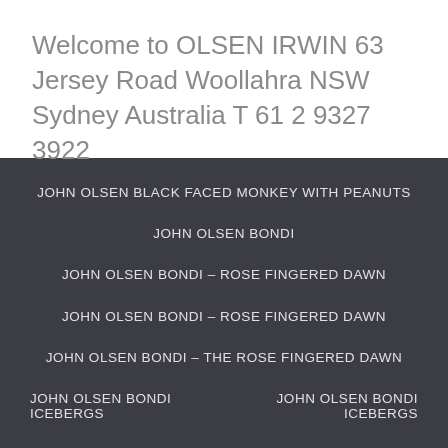Welcome to OLSEN IRWIN 63 Jersey Road Woollahra NSW Sydney Australia T 61 2 9327 3922
JOHN OLSEN BLACK FACED MONKEY WITH PEANUTS
JOHN OLSEN BONDI
JOHN OLSEN BONDI – ROSE FINGERED DAWN
JOHN OLSEN BONDI – ROSE FINGERED DAWN
JOHN OLSEN BONDI – THE ROSE FINGERED DAWN
JOHN OLSEN BONDI ICEBERGS
JOHN OLSEN BONDI ICEBERGS